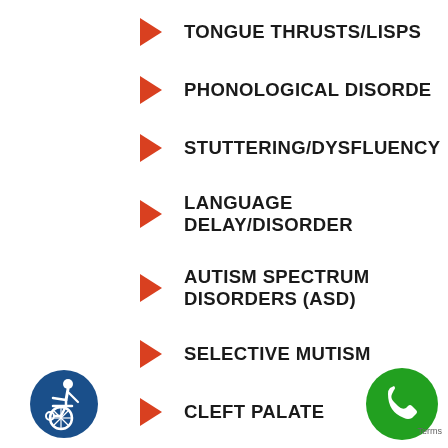TONGUE THRUSTS/LISPS
PHONOLOGICAL DISORDE
STUTTERING/DYSFLUENCY
LANGUAGE DELAY/DISORDER
AUTISM SPECTRUM DISORDERS (ASD)
SELECTIVE MUTISM
CLEFT PALATE
[Figure (illustration): Wheelchair accessibility icon — blue circle with white wheelchair user symbol]
[Figure (illustration): Green circle phone icon for contact]
Terms